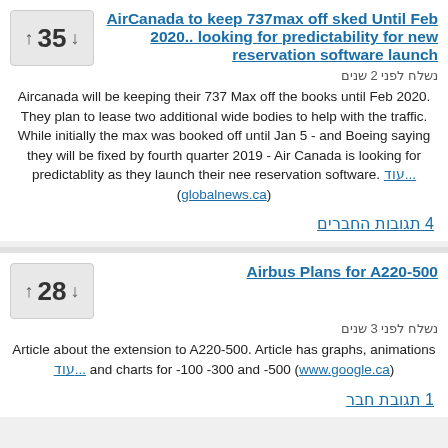AirCanada to keep 737max off sked Until Feb 2020.. looking for predictability for new reservation software launch
נשלח לפני 2 שנים
Aircanada will be keeping their 737 Max off the books until Feb 2020. They plan to lease two additional wide bodies to help with the traffic. While initially the max was booked off until Jan 5 - and Boeing saying they will be fixed by fourth quarter 2019 - Air Canada is looking for predictablity as they launch their nee reservation software. עוד... (globalnews.ca)
4 תגובות החברים
Airbus Plans for A220-500
נשלח לפני 3 שנים
Article about the extension to A220-500. Article has graphs, animations עוד... and charts for -100 -300 and -500 (www.google.ca)
1 תגובת חבר